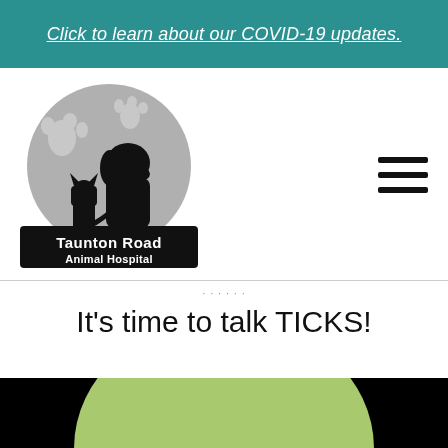Click to learn about our COVID-19 updates.
[Figure (logo): Taunton Road Animal Hospital logo — circular grey emblem with silhouette of dog and cat with paw prints, black rectangular banner below with white text 'Taunton Road Animal Hospital']
It's time to talk TICKS!
Back to the Blog
[Figure (illustration): Bottom portion of page showing a green semi-circle dome shape over a black background, partially cut off at the bottom of the page]